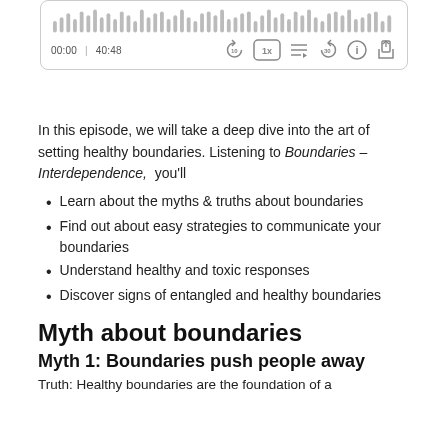[Figure (screenshot): Audio podcast player widget showing waveform, time 00:00 | 40:48, and playback controls including rewind 10, 1x speed, playlist, forward 30, info, and share buttons]
In this episode, we will take a deep dive into the art of setting healthy boundaries. Listening to Boundaries – Interdependence,  you'll
Learn about the myths & truths about boundaries
Find out about easy strategies to communicate your boundaries
Understand healthy and toxic responses
Discover signs of entangled and healthy boundaries
Myth about boundaries
Myth 1: Boundaries push people away
Truth: Healthy boundaries are the foundation of a